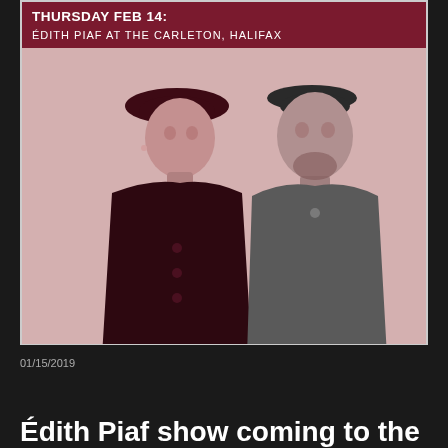[Figure (photo): Concert event poster for Edith Piaf tribute show. Dark red/maroon header banner with white uppercase text reading 'THURSDAY FEB 14: ÉDITH PIAF AT THE CARLETON, HALIFAX'. Below on a pale pink/rose background, italic teal text reads 'TICKETS $20'. Two figures are shown: a woman on the left wearing a dark coat and round hat, and a man on the right in a grey shirt with a dark cap. The image is toned in dark red/maroon duotone style.]
01/15/2019
Édith Piaf show coming to the